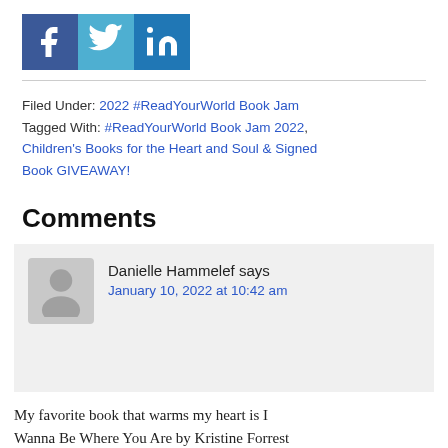[Figure (logo): Three social media share buttons: Facebook (blue), Twitter (teal), LinkedIn (blue)]
Filed Under: 2022 #ReadYourWorld Book Jam
Tagged With: #ReadYourWorld Book Jam 2022, Children's Books for the Heart and Soul & Signed Book GIVEAWAY!
Comments
Danielle Hammelef says
January 10, 2022 at 10:42 am
My favorite book that warms my heart is I Wanna Be Where You Are by Kristine Forrest